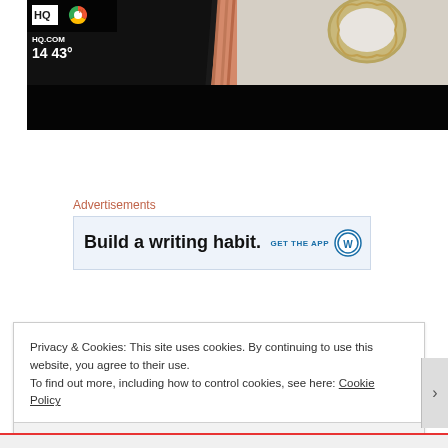[Figure (screenshot): TV screenshot showing NBC News broadcast with man in suit and tie, ornate mirror in background, weather overlay showing 14 43° and HQ.COM]
Advertisements
[Figure (screenshot): Advertisement banner: 'Build a writing habit. GET THE APP' with WordPress logo]
Privacy & Cookies: This site uses cookies. By continuing to use this website, you agree to their use.
To find out more, including how to control cookies, see here: Cookie Policy
Close and accept